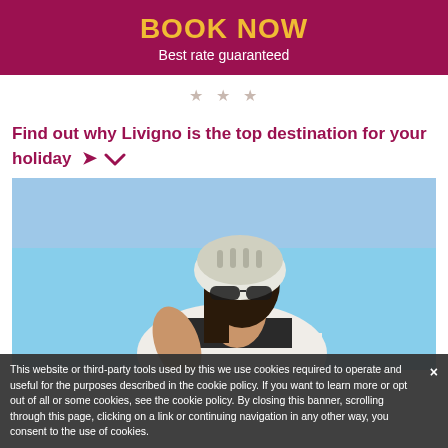BOOK NOW
Best rate guaranteed
[Figure (other): Three decorative star icons in light beige/pink color]
Find out why Livigno is the top destination for your holiday
[Figure (photo): A woman wearing a white cycling jersey, helmet, and sunglasses, photographed from below against a bright blue sky. She appears to be cycling.]
This website or third-party tools used by this we use cookies required to operate and useful for the purposes described in the cookie policy. If you want to learn more or opt out of all or some cookies, see the cookie policy. By closing this banner, scrolling through this page, clicking on a link or continuing navigation in any other way, you consent to the use of cookies.